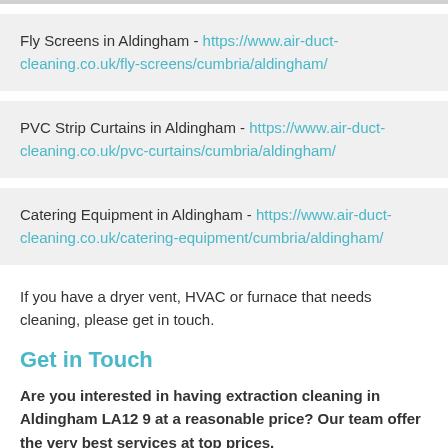Fly Screens in Aldingham - https://www.air-duct-cleaning.co.uk/fly-screens/cumbria/aldingham/
PVC Strip Curtains in Aldingham - https://www.air-duct-cleaning.co.uk/pvc-curtains/cumbria/aldingham/
Catering Equipment in Aldingham - https://www.air-duct-cleaning.co.uk/catering-equipment/cumbria/aldingham/
If you have a dryer vent, HVAC or furnace that needs cleaning, please get in touch.
Get in Touch
Are you interested in having extraction cleaning in Aldingham LA12 9 at a reasonable price? Our team offer the very best services at top prices.
Please complete the contact form now to get in touch regarding how much it costs to clean commercial kitchen extraction systems,